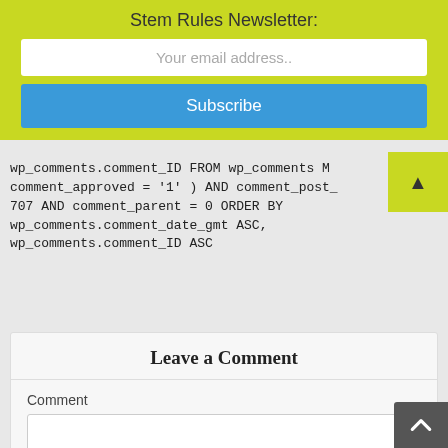Stem Rules Newsletter:
Your email address..
Subscribe
wp_comments.comment_ID FROM wp_comments WHERE comment_approved = '1' ) AND comment_post_ 707 AND comment_parent = 0 ORDER BY wp_comments.comment_date_gmt ASC, wp_comments.comment_ID ASC
Leave a Comment
Comment